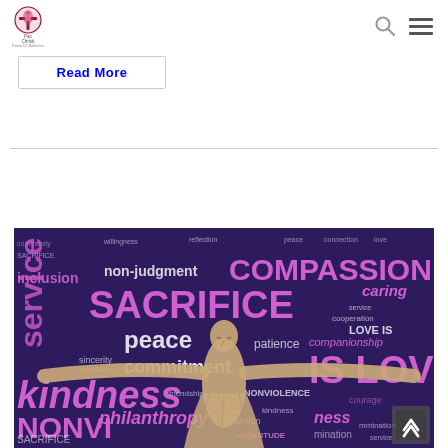Pax Christi Peace DC-Baltimore [logo with navigation icons]
Read More
[Figure (photo): Word cloud art overlaid on a Christ the Redeemer statue silhouette. Words include COMPASSION, SACRIFICE, IS LOVE, kindness, service, peace, commitment, inclusion, non-judgment, NONVIOLENCE, philanthropy, caring, companionship, patience, cooperation, sincerity, friendship, and many more, rendered in shades of purple and pink on a dark navy/purple background.]